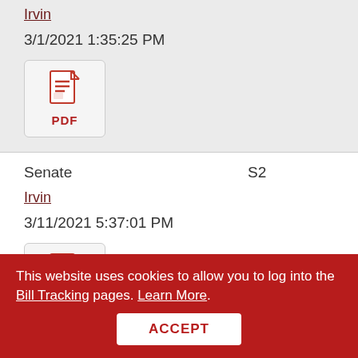Irvin
3/1/2021 1:35:25 PM
[Figure (other): PDF document icon button]
Senate    S2
Irvin
3/11/2021 5:37:01 PM
[Figure (other): PDF document icon button]
This website uses cookies to allow you to log into the Bill Tracking pages. Learn More.
ACCEPT